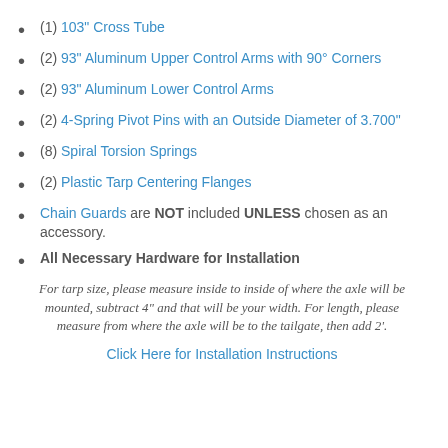(1) 103" Cross Tube
(2) 93" Aluminum Upper Control Arms with 90° Corners
(2) 93" Aluminum Lower Control Arms
(2) 4-Spring Pivot Pins with an Outside Diameter of 3.700"
(8) Spiral Torsion Springs
(2) Plastic Tarp Centering Flanges
Chain Guards are NOT included UNLESS chosen as an accessory.
All Necessary Hardware for Installation
For tarp size, please measure inside to inside of where the axle will be mounted, subtract 4" and that will be your width. For length, please measure from where the axle will be to the tailgate, then add 2'.
Click Here for Installation Instructions